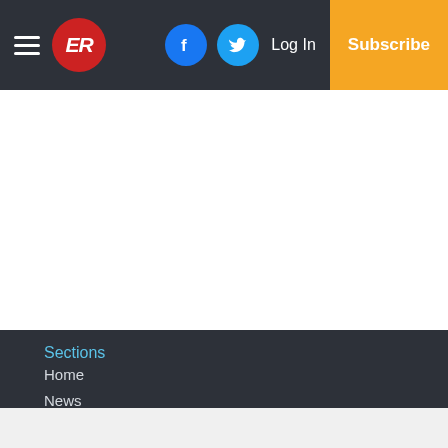ER logo, hamburger menu, Facebook, Twitter, Log In, Subscribe
Sections
Home
News
Sports
Opinion
Lifestyle
Obits
Small Business
Services